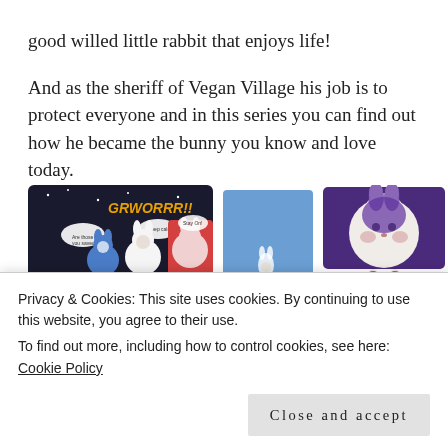good willed little rabbit that enjoys life!

And as the sheriff of Vegan Village his job is to protect everyone and in this series you can find out how he became the bunny you know and love today.
[Figure (illustration): A collage of comic strip panels showing animated rabbit and other characters in colorful scenes, alongside book/card cover images with a bunny character in purple.]
Privacy & Cookies: This site uses cookies. By continuing to use this website, you agree to their use.
To find out more, including how to control cookies, see here: Cookie Policy
Close and accept